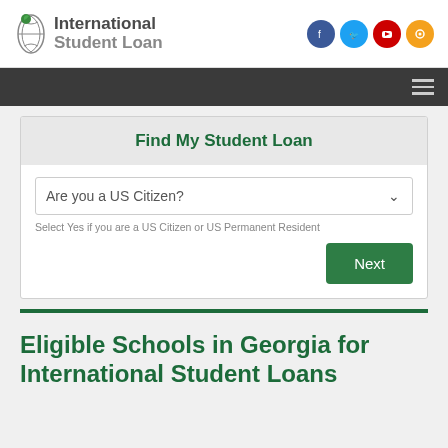International Student Loan
[Figure (screenshot): Find My Student Loan widget with 'Are you a US Citizen?' dropdown and Next button]
Eligible Schools in Georgia for International Student Loans